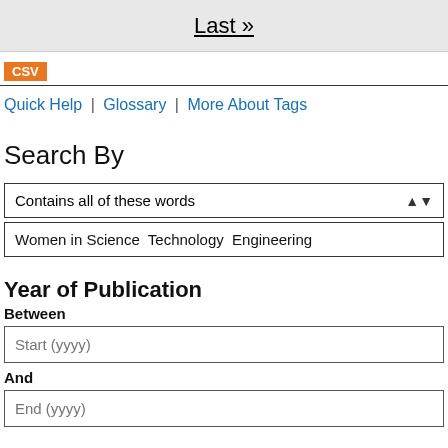Last »
CSV
Quick Help | Glossary | More About Tags
Search By
Contains all of these words
Women in Science  Technology  Engineering
Year of Publication
Between
Start (yyyy)
And
End (yyyy)